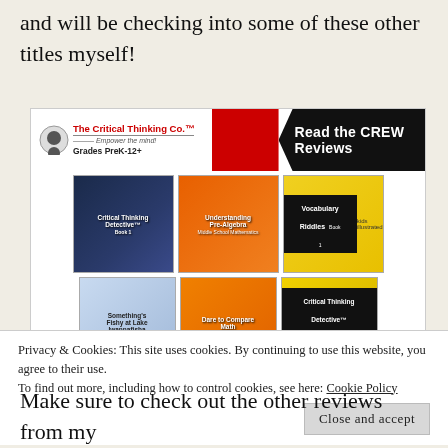and will be checking into some of these other titles myself!
[Figure (infographic): The Critical Thinking Co. banner advertisement with 'Read the CREW Reviews' heading and six book covers displayed: Critical Thinking Detective Book 1, Understanding Pre-Algebra, Vocabulary Riddles, Something's Fishy at Lake Iwannafisha, Dare to Compare Math, and Critical Thinking Detective Vocabulary Book 1.]
Privacy & Cookies: This site uses cookies. By continuing to use this website, you agree to their use.
To find out more, including how to control cookies, see here: Cookie Policy
Make sure to check out the other reviews from my